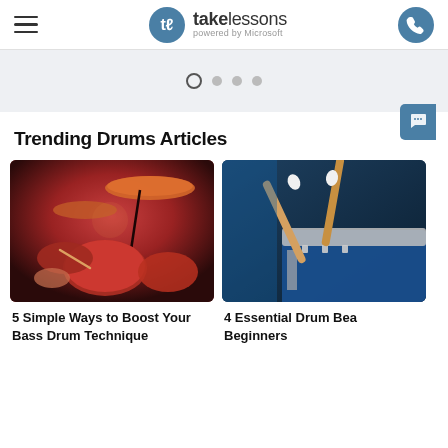takelessons powered by Microsoft
[Figure (screenshot): Carousel slider dots navigation: one active open circle followed by three filled grey dots]
Trending Drums Articles
[Figure (photo): Drummer performing behind a drum kit with orange/red cymbals and drums lit in warm stage lighting]
5 Simple Ways to Boost Your Bass Drum Technique
[Figure (photo): Close-up of two drumsticks resting on a blue snare drum with chrome hardware]
4 Essential Drum Bea Beginners